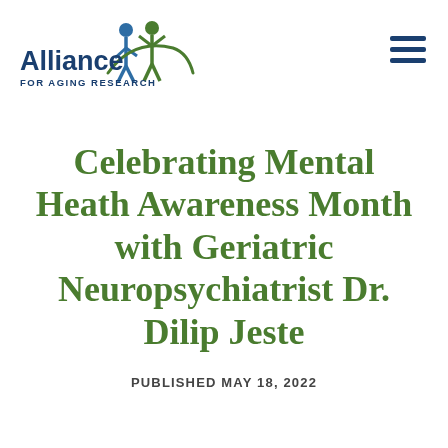[Figure (logo): Alliance for Aging Research logo with stylized human figures in blue and green, text 'Alliance FOR AGING RESEARCH']
Celebrating Mental Heath Awareness Month with Geriatric Neuropsychiatrist Dr. Dilip Jeste
PUBLISHED MAY 18, 2022